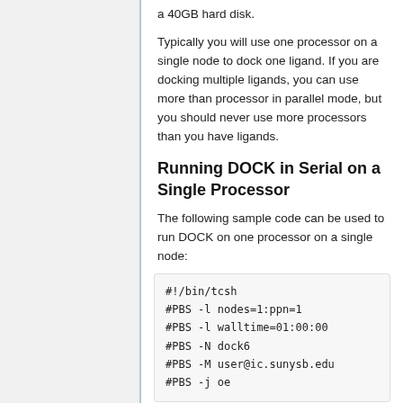a 40GB hard disk.
Typically you will use one processor on a single node to dock one ligand. If you are docking multiple ligands, you can use more than processor in parallel mode, but you should never use more processors than you have ligands.
Running DOCK in Serial on a Single Processor
The following sample code can be used to run DOCK on one processor on a single node:
#!/bin/tcsh
#PBS -l nodes=1:ppn=1
#PBS -l walltime=01:00:00
#PBS -N dock6
#PBS -M user@ic.sunysb.edu
#PBS -j oe